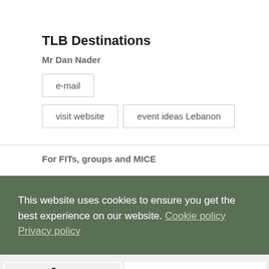TLB Destinations
Mr Dan Nader
e-mail
visit website
event ideas Lebanon
For FITs, groups and MICE
This website uses cookies to ensure you get the best experience on our website. Cookie policy Privacy policy
Review DMC Lebanon
Decline
Allow cookies